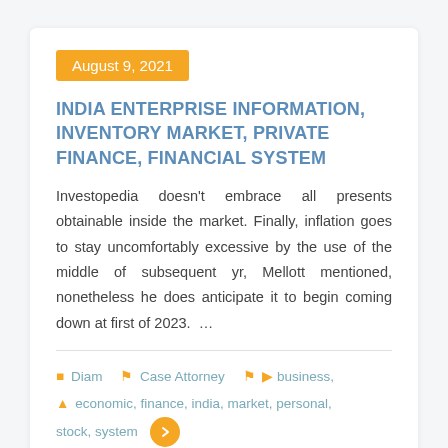August 9, 2021
INDIA ENTERPRISE INFORMATION, INVENTORY MARKET, PRIVATE FINANCE, FINANCIAL SYSTEM
Investopedia doesn't embrace all presents obtainable inside the market. Finally, inflation goes to stay uncomfortably excessive by the use of the middle of subsequent yr, Mellott mentioned, nonetheless he does anticipate it to begin coming down at first of 2023. …
Diam  Case Attorney  business, economic, finance, india, market, personal, stock, system